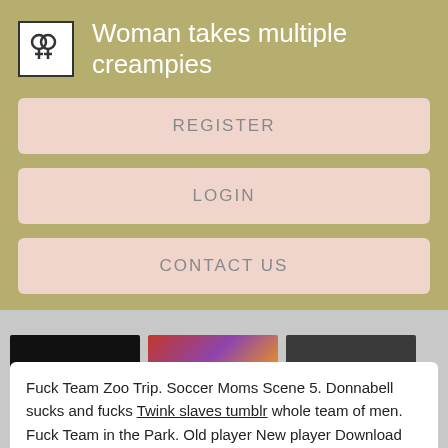Woman takes multiple creampies
REGISTER
LOGIN
CONTACT US
[Figure (photo): Three video thumbnails: black frame, colorful scene, dark scene with label]
Fuck Team Zoo Trip. Soccer Moms Scene 5. Donnabell sucks and fucks Twink slaves tumblr whole team of men. Fuck Team in the Park. Old player New player Download Original size. Fuck Team Punch Out! Soccer Champ Gets Fucked. Fuck Team Five in action.